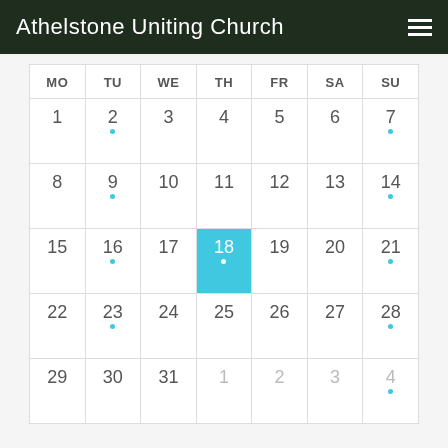Athelstone Uniting Church
| MO | TU | WE | TH | FR | SA | SU |
| --- | --- | --- | --- | --- | --- | --- |
| 1 | 2 | 3 | 4 | 5 | 6 | 7 |
| 8 | 9 | 10 | 11 | 12 | 13 | 14 |
| 15 | 16 | 17 | 18 | 19 | 20 | 21 |
| 22 | 23 | 24 | 25 | 26 | 27 | 28 |
| 29 | 30 | 31 | 1 | 2 | 3 | 4 |
EVENTS FOR AUGUST
18th